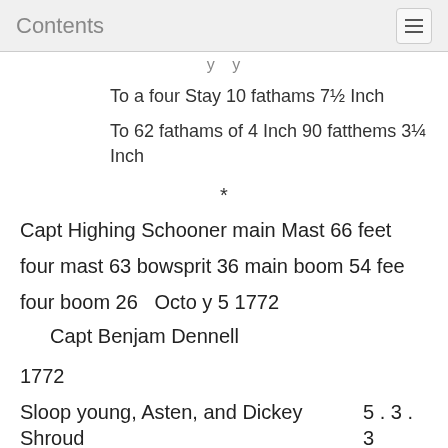Contents
y y
To a four Stay 10 fathams 7½ Inch
To 62 fathams of 4 Inch 90 fatthems 3¼ Inch
*
Capt Highing Schooner main Mast 66 feet
four mast 63 bowsprit 36 main boom 54 fee
four boom 26   Octo y 5 1772
Capt Benjam Dennell
1772
Sloop young, Asten, and Dickey Shroud        5 . 3 . 3